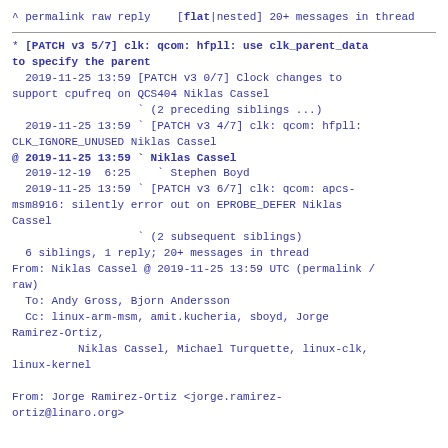^ permalink raw reply  [flat|nested] 20+ messages in thread
* [PATCH v3 5/7] clk: qcom: hfpll: use clk_parent_data to specify the parent
  2019-11-25 13:59 [PATCH v3 0/7] Clock changes to support cpufreq on QCS404 Niklas Cassel
                   ` (2 preceding siblings ...)
  2019-11-25 13:59 ` [PATCH v3 4/7] clk: qcom: hfpll: CLK_IGNORE_UNUSED Niklas Cassel
@ 2019-11-25 13:59 ` Niklas Cassel
  2019-12-19  6:25   ` Stephen Boyd
  2019-11-25 13:59 ` [PATCH v3 6/7] clk: qcom: apcs-msm8916: silently error out on EPROBE_DEFER Niklas Cassel
                   ` (2 subsequent siblings)
  6 siblings, 1 reply; 20+ messages in thread
From: Niklas Cassel @ 2019-11-25 13:59 UTC (permalink / raw)
  To: Andy Gross, Bjorn Andersson
  Cc: linux-arm-msm, amit.kucheria, sboyd, Jorge Ramirez-Ortiz,
        Niklas Cassel, Michael Turquette, linux-clk,
linux-kernel

From: Jorge Ramirez-Ortiz <jorge.ramirez-ortiz@linaro.org>